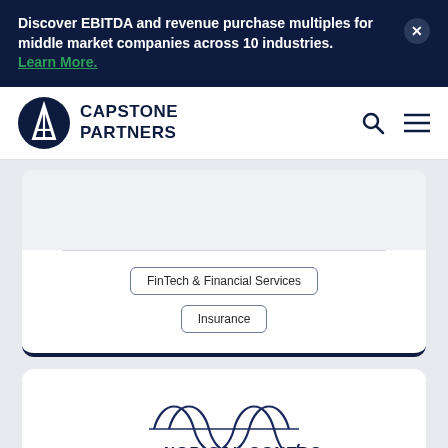Discover EBITDA and revenue purchase multiples for middle market companies across 10 industries. Learn More.
CAPSTONE PARTNERS
FinTech & Financial Services
Insurance
[Figure (logo): Nor-Cal Controls Energy Solutions logo with sine wave graphic and company name]